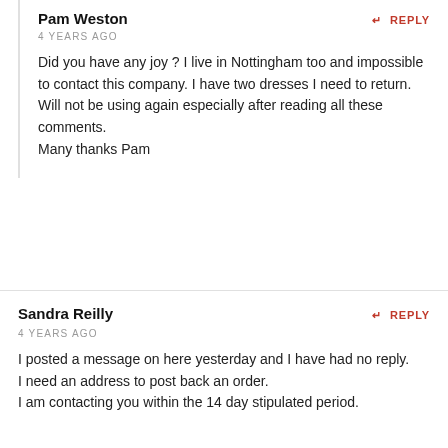Pam Weston
4 YEARS AGO
Did you have any joy ? I live in Nottingham too and impossible to contact this company. I have two dresses I need to return. Will not be using again especially after reading all these comments.
Many thanks Pam
Sandra Reilly
4 YEARS AGO
I posted a message on here yesterday and I have had no reply.
I need an address to post back an order.
I am contacting you within the 14 day stipulated period.